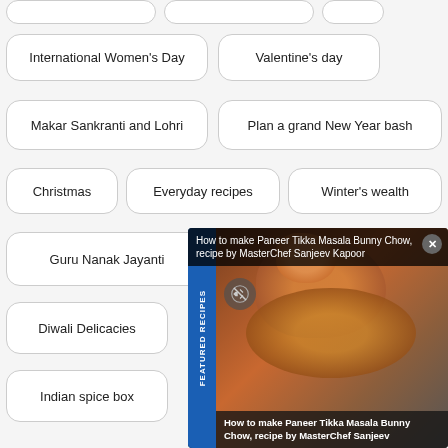International Women's Day
Valentine's day
Makar Sankranti and Lohri
Plan a grand New Year bash
Christmas
Everyday recipes
Winter's wealth
Guru Nanak Jayanti
Diwali Delicacies
Indian spice box
Ganesh Chaturthi
Teachers' Day
[Figure (screenshot): Featured Recipes popup overlay showing a Paneer Tikka Masala Bunny Chow recipe video thumbnail with a close button, mute button, blue side label reading FEATURED RECIPES, and caption: How to make Paneer Tikka Masala Bunny Chow, recipe by MasterChef Sanjeev Kapoor]